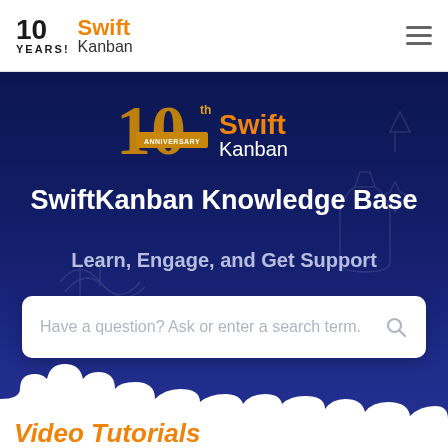[Figure (logo): 10 YEARS! Swift Kanban logo in top navigation bar]
[Figure (screenshot): SwiftKanban Knowledge Base hero banner with 10th anniversary logo, title text, subtitle, and search bar on dark navy background with cloud decoration at bottom]
SwiftKanban Knowledge Base
Learn, Engage, and Get Support
Have a question? Ask or enter a search term.
Video Tutorials